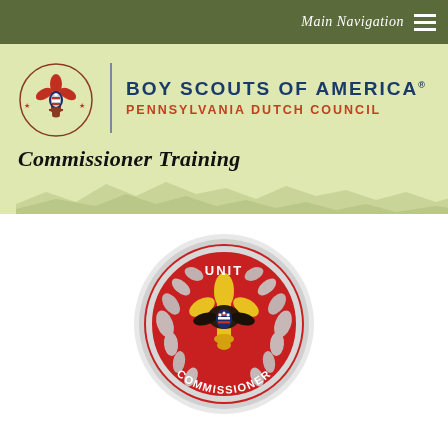Main Navigation
[Figure (logo): Boy Scouts of America logo - fleur-de-lis emblem with eagle, in red and blue, beside text 'BOY SCOUTS OF AMERICA - PENNSYLVANIA DUTCH COUNCIL']
Commissioner Training
[Figure (illustration): Unit Commissioner patch - circular red badge with silver border, showing BSA fleur-de-lis with eagle, text 'UNIT' at top and 'COMMISSIONER' at bottom, silver laurel wreath detail]